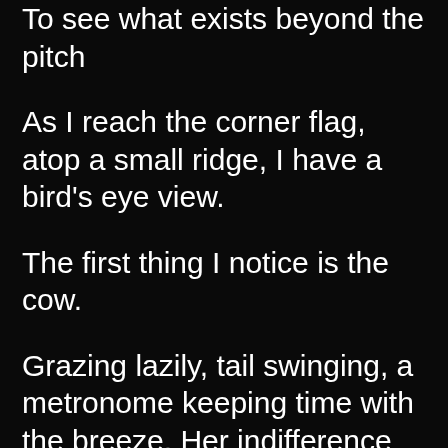To see what exists beyond the pitch
As I reach the corner flag, atop a small ridge, I have a bird’s eye view.
The first thing I notice is the cow.
Grazing lazily, tail swinging, a metronome keeping time with the breeze. Her indifference fuels me, most likely mocking my seriousness.